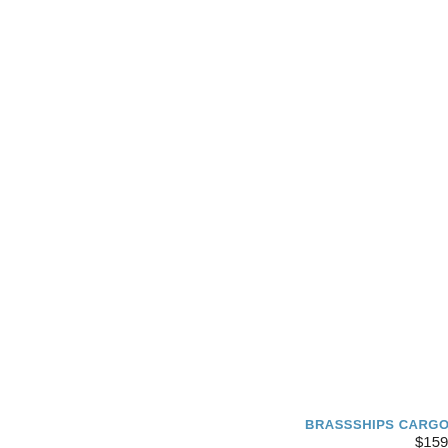[Figure (photo): Brass ship cargo lantern with glass panels and metal frame, top ring hanger, gold/brass finish]
BRASSSHIPS CARGO LAN
$159.95
Buy Now!
[Figure (photo): Second brass ship cargo lantern, taller style, with glass panels and metal frame, top ring hanger, gold/brass finish, partially visible]